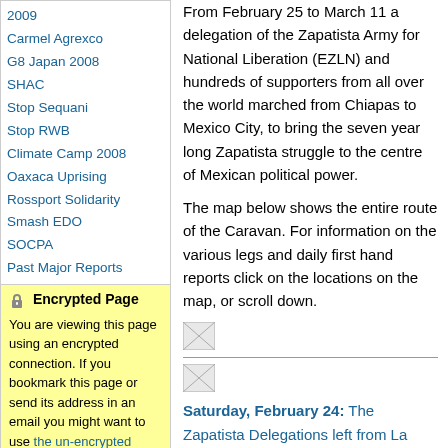2009
Carmel Agrexco
G8 Japan 2008
SHAC
Stop Sequani
Stop RWB
Climate Camp 2008
Oaxaca Uprising
Rossport Solidarity
Smash EDO
SOCPA
Past Major Reports
Encrypted Page
You are viewing this page using an encrypted connection. If you bookmark this page or send its address in an email you might want to use the un-encrypted address of this page.
If you recieved a warning
From February 25 to March 11 a delegation of the Zapatista Army for National Liberation (EZLN) and hundreds of supporters from all over the world marched from Chiapas to Mexico City, to bring the seven year long Zapatista struggle to the centre of Mexican political power.
The map below shows the entire route of the Caravan. For information on the various legs and daily first hand reports click on the locations on the map, or scroll down.
[Figure (photo): Small broken image icon placeholder]
[Figure (photo): Small broken image icon placeholder]
Saturday, February 24: The Zapatista Delegations left from La Realidad, La Garrucha, Oventik and Moises Gandhi where Civil Society met them. A communique (in Spanish) by the EZLN's Clandestine Revolutionary Indigenous Committee was road by the Zapatista delegation